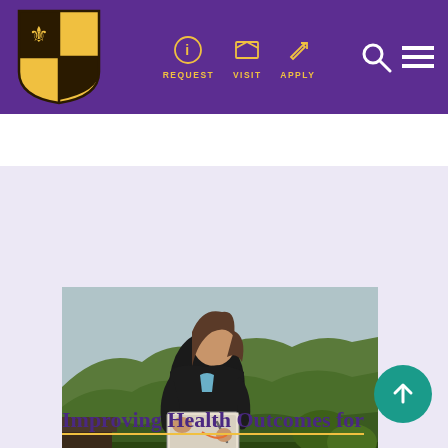[Figure (screenshot): University website navigation bar with purple background, university shield logo on left, REQUEST/VISIT/APPLY nav links with icons in gold, search and hamburger menu icons on right]
[Figure (photo): A woman in a black hoodie writing on a clipboard or tablet outdoors, with lush green mountainous terrain in the background, likely in a rural Latin American setting]
Improving Health Outcomes for